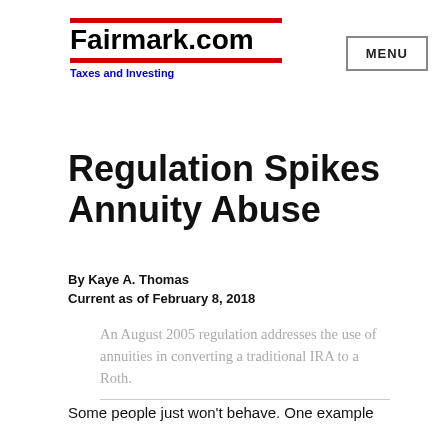Fairmark.com Taxes and Investing
Regulation Spikes Annuity Abuse
By Kaye A. Thomas
Current as of February 8, 2018
An August 2005 regulation addresses the use of annuities in converting a traditional IRA to a Roth.
Some people just won't behave. One example